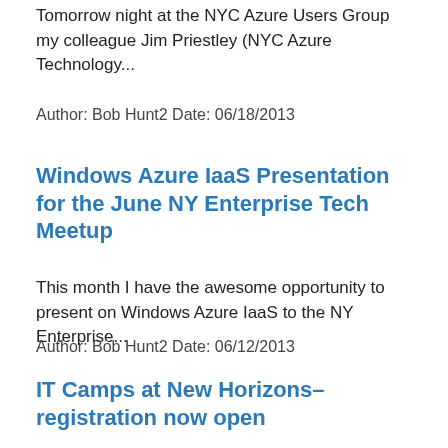Tomorrow night at the NYC Azure Users Group my colleague Jim Priestley (NYC Azure Technology...
Author: Bob Hunt2 Date: 06/18/2013
Windows Azure IaaS Presentation for the June NY Enterprise Tech Meetup
This month I have the awesome opportunity to present on Windows Azure IaaS to the NY Enterprise...
Author: Bob Hunt2 Date: 06/12/2013
IT Camps at New Horizons–registration now open
I will be delivering four more IT Camps that are taking place in the NY Metro area on...